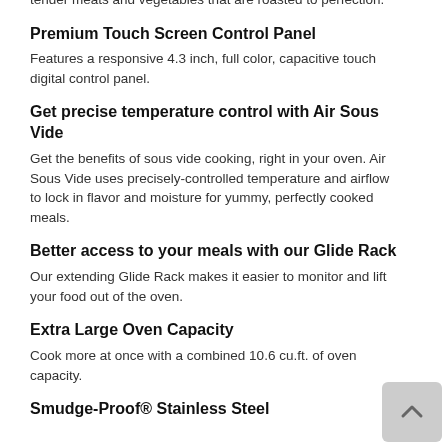tender meats and vegetables that are roasted to perfection.
Premium Touch Screen Control Panel
Features a responsive 4.3 inch, full color, capacitive touch digital control panel.
Get precise temperature control with Air Sous Vide
Get the benefits of sous vide cooking, right in your oven. Air Sous Vide uses precisely-controlled temperature and airflow to lock in flavor and moisture for yummy, perfectly cooked meals.
Better access to your meals with our Glide Rack
Our extending Glide Rack makes it easier to monitor and lift your food out of the oven.
Extra Large Oven Capacity
Cook more at once with a combined 10.6 cu.ft. of oven capacity.
Smudge-Proof® Stainless Steel